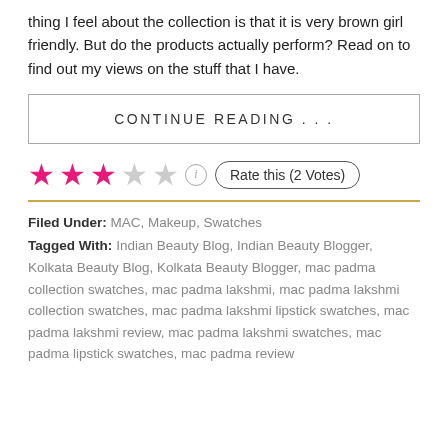thing I feel about the collection is that it is very brown girl friendly. But do the products actually perform? Read on to find out my views on the stuff that I have.
CONTINUE READING . . .
★★★☆☆ Rate this (2 Votes)
Filed Under: MAC, Makeup, Swatches
Tagged With: Indian Beauty Blog, Indian Beauty Blogger, Kolkata Beauty Blog, Kolkata Beauty Blogger, mac padma collection swatches, mac padma lakshmi, mac padma lakshmi collection swatches, mac padma lakshmi lipstick swatches, mac padma lakshmi review, mac padma lakshmi swatches, mac padma lipstick swatches, mac padma review